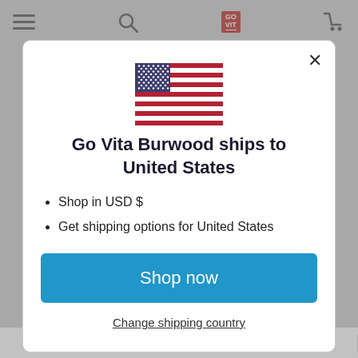[Figure (screenshot): Modal dialog on a website. Shows a US flag, heading 'Go Vita Burwood ships to United States', bullet points 'Shop in USD $' and 'Get shipping options for United States', a blue 'Shop now' button, and an underlined 'Change shipping country' link.]
Go Vita Burwood ships to United States
Shop in USD $
Get shipping options for United States
Shop now
Change shipping country
| Energy | 895 kJ (214 Cal) | 199 |
| --- | --- | --- |